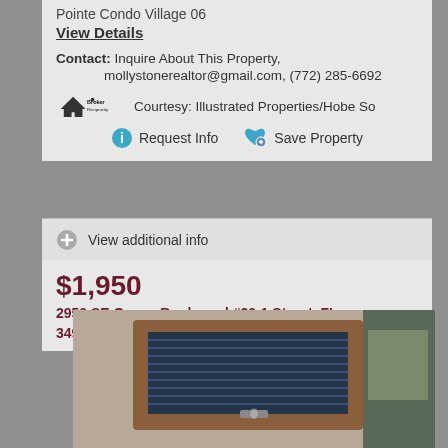Pointe Condo Village 06
View Details
Contact: Inquire About This Property, mollystonerealtor@gmail.com, (772) 285-6692
Courtesy: Illustrated Properties/Hobe So
Request Info   Save Property
View additional info
$1,950
2950 SE Ocean Boulevard #20-1 Stuart, FL 34996
[Figure (photo): Interior photo looking up at a skylight window with blue blinds partially closed, set in a brown wooden frame against a wall]